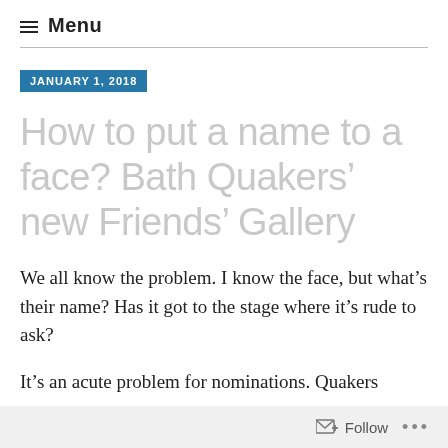≡ Menu
JANUARY 1, 2018
How to put a name to a face? Bath Quakers' new Friends' Gallery
We all know the problem. I know the face, but what's their name? Has it got to the stage where it's rude to ask?
It's an acute problem for nominations. Quakers
Follow ...